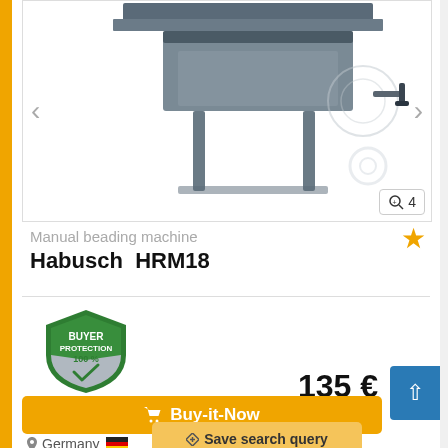[Figure (photo): Product photo of a manual beading machine (Habusch HRM18), a gray metal sheet metal working machine with a hand crank, shown against white background. Image navigation arrows on left and right sides, zoom badge showing '4' in bottom right corner.]
Manual beading machine
Habusch  HRM18
[Figure (illustration): Buyer Protection badge - green shield with white text reading BUYER PROTECTION 100% with a checkmark]
135 €
Fixed price plus VA
🛒 Buy-it-Now
📍 Germany
✈ Save search query